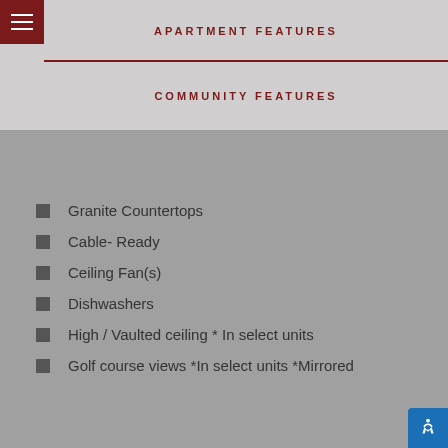APARTMENT FEATURES
COMMUNITY FEATURES
Granite Countertops
Cable- Ready
Ceiling Fan(s)
Dishwashers
High / Vaulted ceiling * In select units
Golf course views *In select units *Mirrored